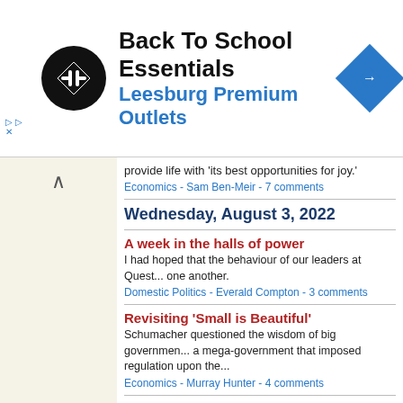[Figure (advertisement): Back To School Essentials - Leesburg Premium Outlets advertisement banner with logo and navigation icon]
provide life with 'its best opportunities for joy.'
Economics - Sam Ben-Meir - 7 comments
Wednesday, August 3, 2022
A week in the halls of power
I had hoped that the behaviour of our leaders at Quest... one another.
Domestic Politics - Everald Compton - 3 comments
Revisiting 'Small is Beautiful'
Schumacher questioned the wisdom of big governmen... a mega-government that imposed regulation upon the...
Economics - Murray Hunter - 4 comments
Tuesday, August 2, 2022
Parliamentary privilege is under threat